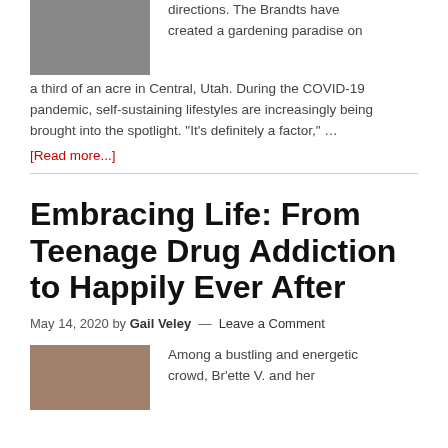[Figure (photo): Small thumbnail photo of a garden scene, partially visible at top left]
directions. The Brandts have created a gardening paradise on a third of an acre in Central, Utah. During the COVID-19 pandemic, self-sustaining lifestyles are increasingly being brought into the spotlight. "It's definitely a factor," …
[Read more...]
Embracing Life: From Teenage Drug Addiction to Happily Ever After
May 14, 2020 by Gail Veley — Leave a Comment
[Figure (photo): Thumbnail photo of a person, partially visible at bottom left]
Among a bustling and energetic crowd, Br'ette V. and her